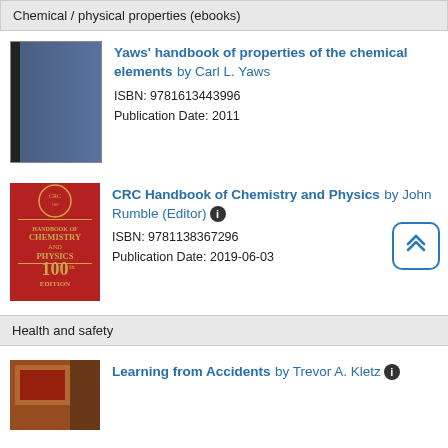Chemical / physical properties (ebooks)
[Figure (photo): Blue book cover for Yaws handbook]
Yaws' handbook of properties of the chemical elements by Carl L. Yaws
ISBN: 9781613443996
Publication Date: 2011
[Figure (photo): Red book cover for CRC Handbook of Chemistry and Physics 100th edition]
CRC Handbook of Chemistry and Physics by John Rumble (Editor)
ISBN: 9781138367296
Publication Date: 2019-06-03
Health and safety
[Figure (photo): Photo book cover for Learning from Accidents]
Learning from Accidents by Trevor A. Kletz